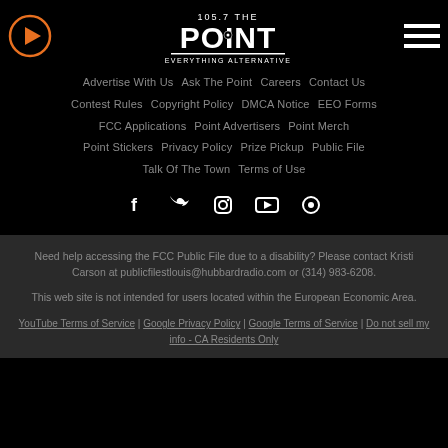[Figure (logo): 105.7 The Point - Everything Alternative radio station logo]
Advertise With Us | Ask The Point | Careers | Contact Us
Contest Rules | Copyright Policy | DMCA Notice | EEO Forms
FCC Applications | Point Advertisers | Point Merch
Point Stickers | Privacy Policy | Prize Pickup | Public File
Talk Of The Town | Terms of Use
[Figure (infographic): Social media icons: Facebook, Twitter, Instagram, YouTube, and another icon]
Need help accessing the FCC Public File due to a disability? Please contact Kristi Carson at publicfilestlouis@hubbardradio.com or (314) 983-6208.
This web site is not intended for users located within the European Economic Area.
YouTube Terms of Service | Google Privacy Policy | Google Terms of Service | Do not sell my info - CA Residents Only